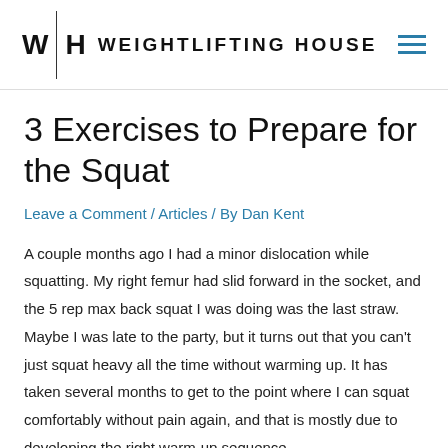W|H WEIGHTLIFTING HOUSE
3 Exercises to Prepare for the Squat
Leave a Comment / Articles / By Dan Kent
A couple months ago I had a minor dislocation while squatting. My right femur had slid forward in the socket, and the 5 rep max back squat I was doing was the last straw. Maybe I was late to the party, but it turns out that you can't just squat heavy all the time without warming up. It has taken several months to get to the point where I can squat comfortably without pain again, and that is mostly due to developing the right warm-up sequence.